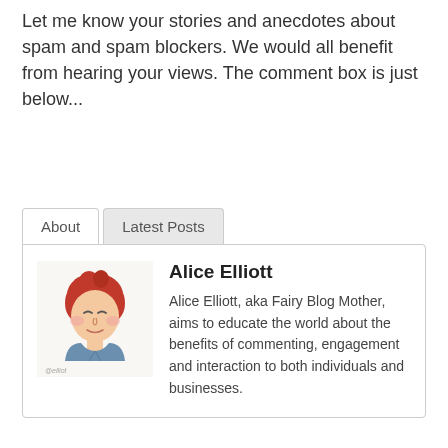Let me know your stories and anecdotes about spam and spam blockers. We would all benefit from hearing your views. The comment box is just below...
[Figure (illustration): Author bio card with tabs labeled 'About' and 'Latest Posts'. Contains a cartoon illustration portrait of Alice Elliott (red-haired person) alongside her name and bio text.]
Alice Elliott
Alice Elliott, aka Fairy Blog Mother, aims to educate the world about the benefits of commenting, engagement and interaction to both individuals and businesses.